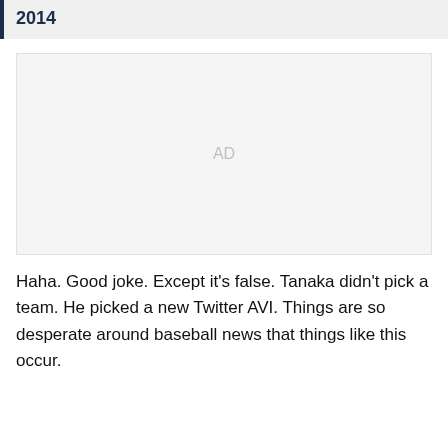2014
[Figure (other): Advertisement placeholder box with 'AD' label in light gray]
Haha. Good joke. Except it's false. Tanaka didn't pick a team. He picked a new Twitter AVI. Things are so desperate around baseball news that things like this occur.